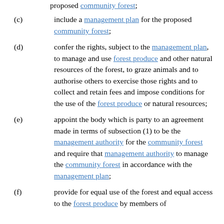proposed community forest;
(c) include a management plan for the proposed community forest;
(d) confer the rights, subject to the management plan, to manage and use forest produce and other natural resources of the forest, to graze animals and to authorise others to exercise those rights and to collect and retain fees and impose conditions for the use of the forest produce or natural resources;
(e) appoint the body which is party to an agreement made in terms of subsection (1) to be the management authority for the community forest and require that management authority to manage the community forest in accordance with the management plan;
(f) provide for equal use of the forest and equal access to the forest produce by members of